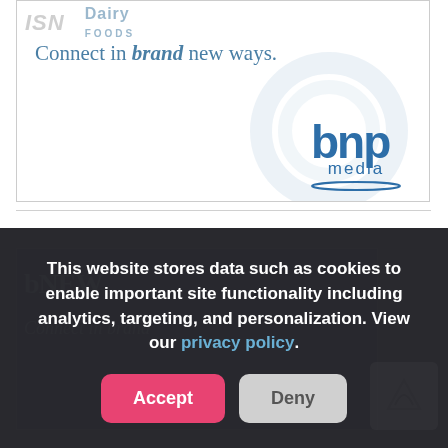[Figure (advertisement): BNP Media advertisement with tagline 'Connect in brand new ways.' and BNP Media logo with circular watermark graphic]
ADVERTISEMENT
This website stores data such as cookies to enable important site functionality including analytics, targeting, and personalization. View our privacy policy.